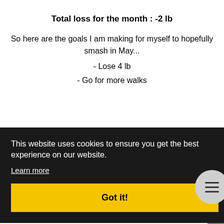Total loss for the month : -2 lb
So here are the goals I am making for myself to hopefully smash in May...
- Lose 4 lb
- Go for more walks
This website uses cookies to ensure you get the best experience on our website.
Learn more
Got it!
am determined to smash my goals and stop undoing all the